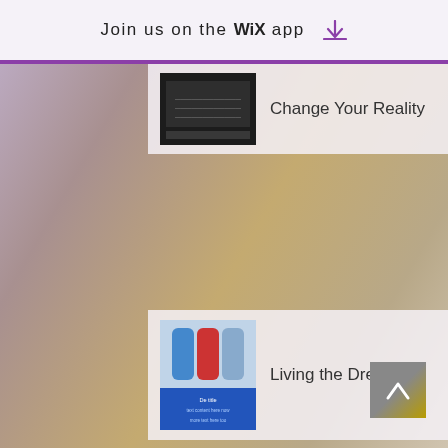Join us on the WiX app ⬇
Change Your Reality
Living the Dream
Are You Burned Out?
Dancing in the Rain: Not Letting Fear Hold You Back